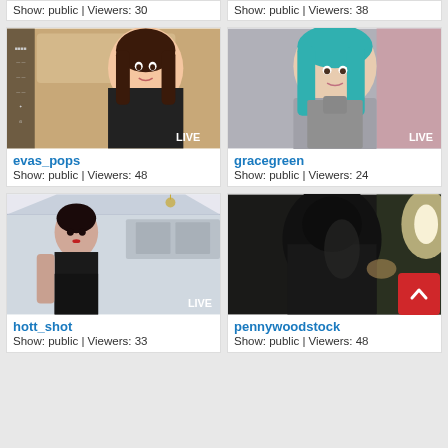Show: public | Viewers: 30
Show: public | Viewers: 38
[Figure (photo): Live webcam thumbnail of evas_pops with LIVE badge]
evas_pops
Show: public | Viewers: 48
[Figure (photo): Live webcam thumbnail of gracegreen with LIVE badge]
gracegreen
Show: public | Viewers: 24
[Figure (photo): Live webcam thumbnail of hott_shot with LIVE badge]
hott_shot
Show: public | Viewers: 33
[Figure (photo): Live webcam thumbnail of pennywoodstock with LIVE badge]
pennywoodstock
Show: public | Viewers: 48